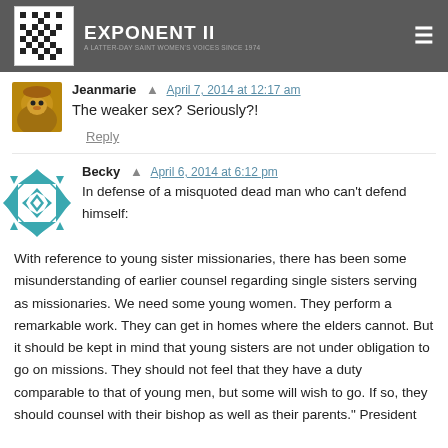Exponent II
[Figure (photo): Avatar photo of a dog (golden retriever)]
Jeanmarie  April 7, 2014 at 12:17 am
The weaker sex? Seriously?!
Reply
[Figure (logo): Teal geometric star/diamond avatar icon for user Becky]
Becky  April 6, 2014 at 6:12 pm
In defense of a misquoted dead man who can't defend himself:
With reference to young sister missionaries, there has been some misunderstanding of earlier counsel regarding single sisters serving as missionaries. We need some young women. They perform a remarkable work. They can get in homes where the elders cannot. But it should be kept in mind that young sisters are not under obligation to go on missions. They should not feel that they have a duty comparable to that of young men, but some will wish to go. If so, they should counsel with their bishop as well as their parents." President